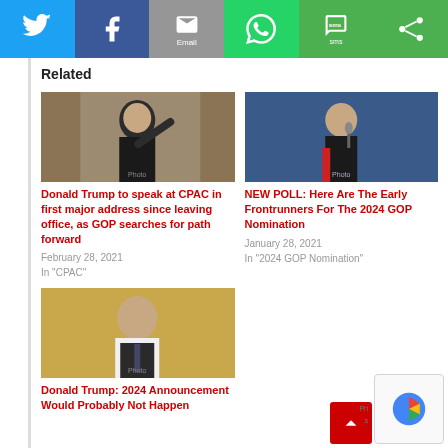[Figure (screenshot): Social media share bar with Twitter, Facebook, Email, WhatsApp, SMS, and another share button]
Related
[Figure (photo): Donald Trump waving, wearing a dark suit]
Donald Trump to speak at CPAC in first major address since leaving office, as GOP searches for path forward
February 28, 2021
In "CPAC"
[Figure (photo): Donald Trump speaking at a podium with microphone, wearing dark suit and red tie]
NEW POLL: Here Are The Early Frontrunners For The 2024 GOP Nomination
January 28, 2021
In "2024 GOP Nomination"
[Figure (photo): Donald Trump in white shirt and dark tie, golden background]
Donald Trump: 2024 Announcement Would Probably Not Happen